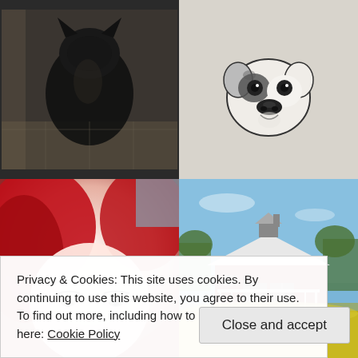[Figure (photo): Dark cat (appears black/dark brown) seen from above, sitting on a tiled/carpeted floor]
[Figure (illustration): Hand-drawn illustration of a Boston Terrier or French Bulldog face on light grey background]
[Figure (photo): Close-up selfie of a woman with red/dark hair, looking up at the camera, overexposed]
[Figure (photo): Red barn with white metal roof surrounded by bright yellow flowering field under blue sky]
Privacy & Cookies: This site uses cookies. By continuing to use this website, you agree to their use.
To find out more, including how to control cookies, see here: Cookie Policy
Close and accept